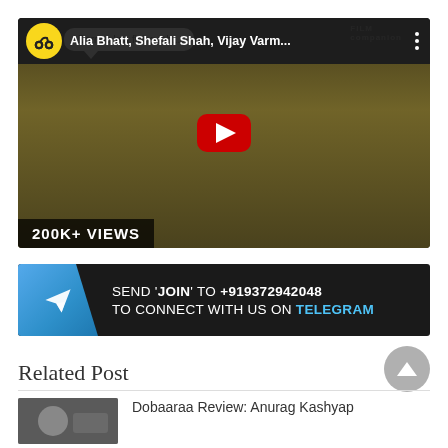[Figure (screenshot): YouTube video thumbnail showing Alia Bhatt, Shefali Shah, Vijay Varma and others on a yellow background, with a red play button in the center and '200K+ VIEWS' text at the bottom left. Top bar shows channel logo, video title and menu dots.]
[Figure (infographic): Dark banner with Telegram icon on left (blue). Text: SEND 'JOIN' TO +919372942048 TO CONNECT WITH US ON TELEGRAM]
Related Post
Dobaaraa Review: Anurag Kashyap